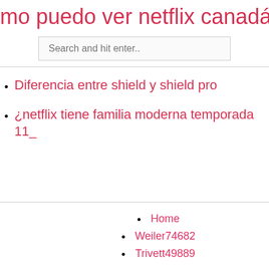mo puedo ver netflix canadá en noso
Diferencia entre shield y shield pro
¿netflix tiene familia moderna temporada 11_
Home
Weiler74682
Trivett49889